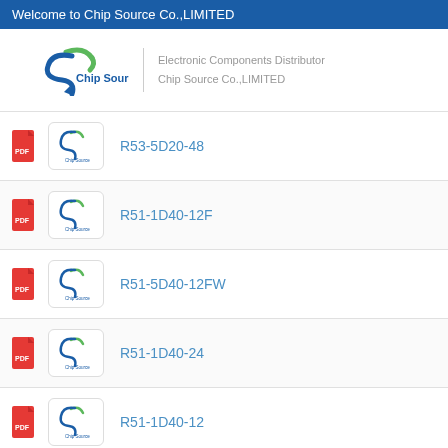Welcome to Chip Source Co.,LIMITED
[Figure (logo): Chip Source logo with stylized S arrow and text, beside divider and company description]
Electronic Components Distributor
Chip Source Co.,LIMITED
R53-5D20-48
R51-1D40-12F
R51-5D40-12FW
R51-1D40-24
R51-1D40-12